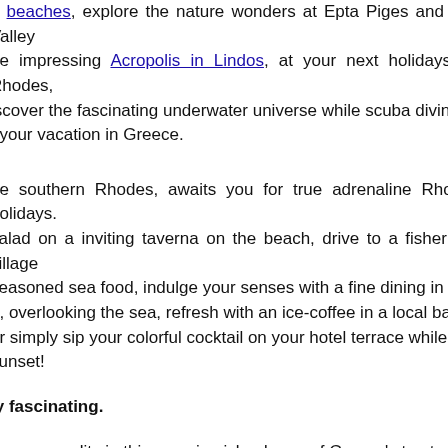d beaches, explore the nature wonders at Epta Piges and The Valley he impressing Acropolis in Lindos, at your next holidays on Rhodes, iscover the fascinating underwater universe while scuba diving - your vacation in Greece.
he southern Rhodes, awaits you for true adrenaline Rhodes holidays. salad on a inviting taverna on the beach, drive to a fishermen village seasoned sea food, indulge your senses with a fine dining in an n, overlooking the sea, refresh with an ice-coffee in a local bar or simply sip your colorful cocktail on your hotel terrace while sunset!
ly fascinating.
become reality in this amazing island, one of Greece's top travel
car rental offers for your next holidays on Rhodes Island, and have today.
Search Hotel